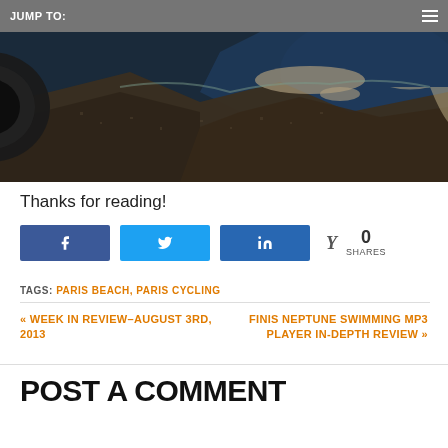JUMP TO:
[Figure (photo): Aerial view of a coastal city taken from an airplane window, showing land, beaches, and ocean with dark blue water.]
Thanks for reading!
Share buttons: Facebook, Twitter, LinkedIn. 0 SHARES
TAGS: PARIS BEACH, PARIS CYCLING
« WEEK IN REVIEW–AUGUST 3RD, 2013
FINIS NEPTUNE SWIMMING MP3 PLAYER IN-DEPTH REVIEW »
POST A COMMENT